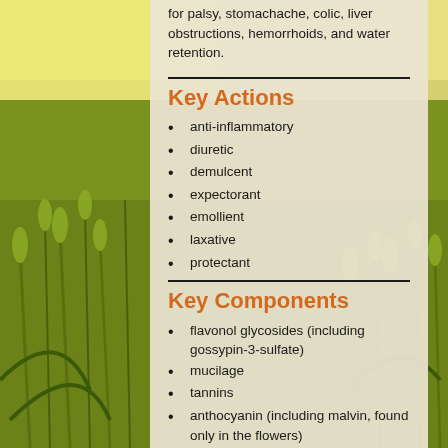for palsy, stomachache, colic, liver obstructions, hemorrhoids, and water retention.
Key Actions
anti-inflammatory
diuretic
demulcent
expectorant
emollient
laxative
protectant
Key Components
flavonol glycosides (including gossypin-3-sulfate)
mucilage
tannins
anthocyanin (including malvin, found only in the flowers)